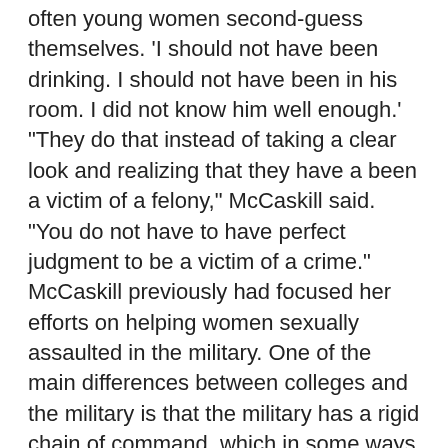often young women second-guess themselves. 'I should not have been drinking. I should not have been in his room. I did not know him well enough.' "They do that instead of taking a clear look and realizing that they have a been a victim of a felony," McCaskill said. "You do not have to have perfect judgment to be a victim of a crime." McCaskill previously had focused her efforts on helping women sexually assaulted in the military. One of the main differences between colleges and the military is that the military has a rigid chain of command, which in some ways makes addressing the problem simpler. Higher education has no such line of authority. There are other differences as well but the main similarity is women on college campuses — like women in the military — live in small, closed communities where word travels fast. This makes some students reluctant to report. Administrators too often do not support women who report they were sexually assaulted on campus. She mentioned high-profile examples at the University of Montana and Notre Dame University. The schools fear that such publicity hurts their image and their student recruitment, she said. Colleges administrators have been openly hostile, she said, when female students